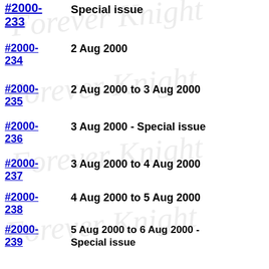#2000-233 | Special issue
#2000-234 | 2 Aug 2000
#2000-235 | 2 Aug 2000 to 3 Aug 2000
#2000-236 | 3 Aug 2000 - Special issue
#2000-237 | 3 Aug 2000 to 4 Aug 2000
#2000-238 | 4 Aug 2000 to 5 Aug 2000
#2000-239 | 5 Aug 2000 to 6 Aug 2000 - Special issue
#2000-240 | 6 Aug 2000
#2000-241 | 6 Aug 2000 to 7 Aug 2000